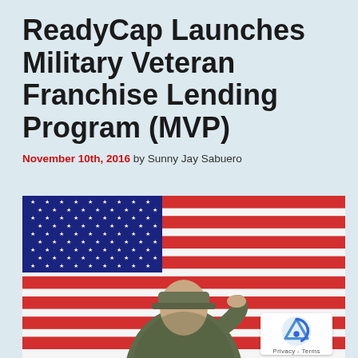ReadyCap Launches Military Veteran Franchise Lending Program (MVP)
November 10th, 2016 by Sunny Jay Sabuero
[Figure (photo): A military soldier in camouflage uniform saluting in front of a large American flag with stars and red and white stripes.]